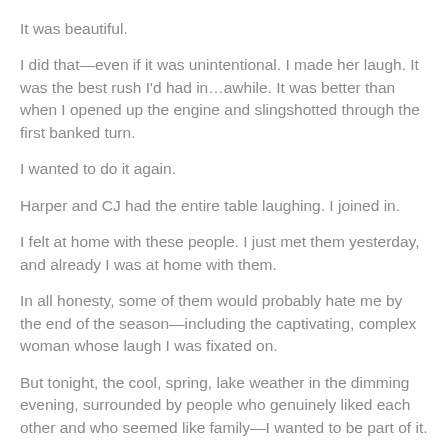It was beautiful.
I did that—even if it was unintentional. I made her laugh. It was the best rush I'd had in…awhile. It was better than when I opened up the engine and slingshotted through the first banked turn.
I wanted to do it again.
Harper and CJ had the entire table laughing. I joined in.
I felt at home with these people. I just met them yesterday, and already I was at home with them.
In all honesty, some of them would probably hate me by the end of the season—including the captivating, complex woman whose laugh I was fixated on.
But tonight, the cool, spring, lake weather in the dimming evening, surrounded by people who genuinely liked each other and who seemed like family—I wanted to be part of it.